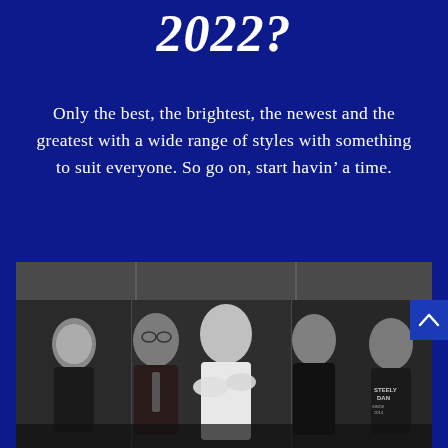2022?
Only the best, the brightest, the newest and the greatest with a wide range of styles with something to suit everyone. So go on, start havin’ a time.
[Figure (photo): Black and white group photo of five men standing together in front of a paneled backdrop. The man in the center is wearing a white shirt with arms crossed and smiling. Others are dressed in dark clothing. One person on the far right is wearing a Steely Dan t-shirt.]